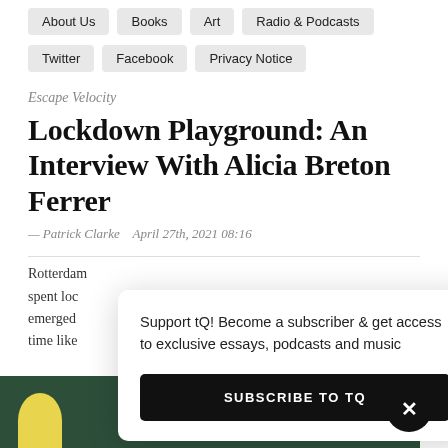About Us   Books   Art   Radio & Podcasts
Twitter   Facebook   Privacy Notice
Escape Velocity
Lockdown Playground: An Interview With Alicia Breton Ferrer
— Patrick Clarke   April 27th, 2021 08:16
Rotterdam... spent loc... emerged... time like...
Support tQ! Become a subscriber & get access to exclusive essays, podcasts and music
SUBSCRIBE TO TQ
[Figure (photo): Dark green background with yellow shape at bottom, partial article image]